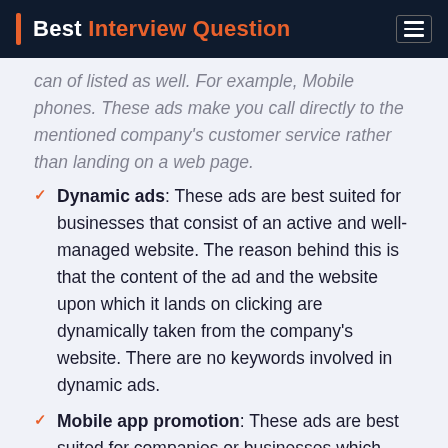Best Interview Question
can of listed as well. For example, Mobile phones. These ads make you call directly to the mentioned company's customer service rather than landing on a web page.
Dynamic ads: These ads are best suited for businesses that consist of an active and well-managed website. The reason behind this is that the content of the ad and the website upon which it lands on clicking are dynamically taken from the company's website. There are no keywords involved in dynamic ads.
Mobile app promotion: These ads are best suited for companies or businesses which have an interactive and active mobile application. The